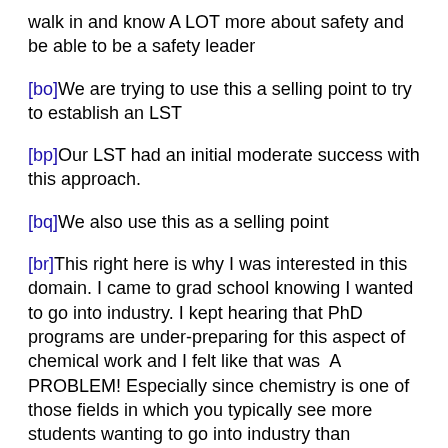walk in and know A LOT more about safety and be able to be a safety leader
[bo]We are trying to use this a selling point to try to establish an LST
[bp]Our LST had an initial moderate success with this approach.
[bq]We also use this as a selling point
[br]This right here is why I was interested in this domain. I came to grad school knowing I wanted to go into industry. I kept hearing that PhD programs are under-preparing for this aspect of chemical work and I felt like that was  A PROBLEM! Especially since chemistry is one of those fields in which you typically see more students wanting to go into industry than academia.